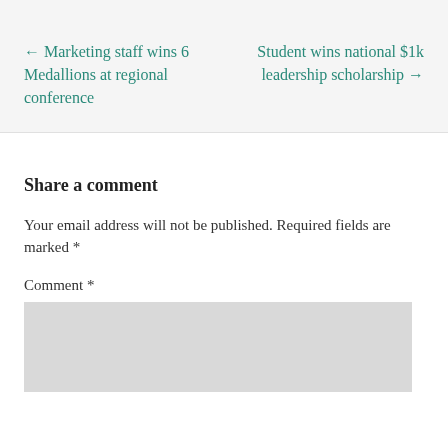← Marketing staff wins 6 Medallions at regional conference
Student wins national $1k leadership scholarship →
Share a comment
Your email address will not be published. Required fields are marked *
Comment *